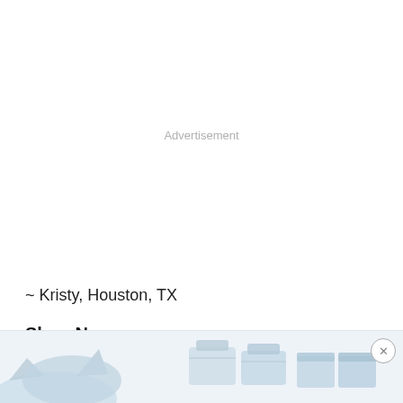Advertisement
~ Kristy, Houston, TX
Shop Now
[Figure (illustration): Bottom banner showing blue-tinted product illustrations including what appears to be storage bags and containers, with a close/dismiss button in the top right corner]